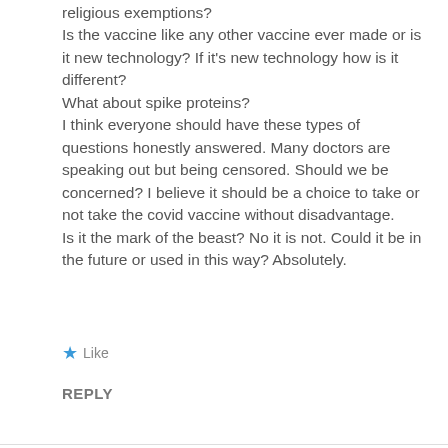religious exemptions?
Is the vaccine like any other vaccine ever made or is it new technology? If it's new technology how is it different?
What about spike proteins?
I think everyone should have these types of questions honestly answered. Many doctors are speaking out but being censored. Should we be concerned? I believe it should be a choice to take or not take the covid vaccine without disadvantage.
Is it the mark of the beast? No it is not. Could it be in the future or used in this way? Absolutely.
Like
REPLY